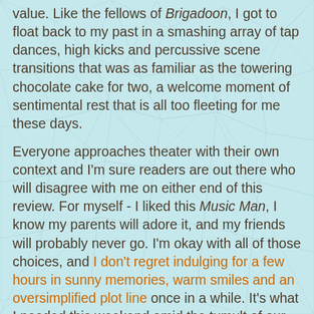value. Like the fellows of Brigadoon, I got to float back to my past in a smashing array of tap dances, high kicks and percussive scene transitions that was as familiar as the towering chocolate cake for two, a welcome moment of sentimental rest that is all too fleeting for me these days.
Everyone approaches theater with their own context and I'm sure readers are out there who will disagree with me on either end of this review. For myself - I liked this Music Man, I know my parents will adore it, and my friends will probably never go. I'm okay with all of those choices, and I don't regret indulging for a few hours in sunny memories, warm smiles and an oversimplified plot line once in a while. It's what I needed this weekend amid the tumult of our world and I don't think I'm alone. If you like period musicals and beautiful production design, you'll want to check out The Music Man before it closes on September 5. For more information or to buy tickets, click on this link.
Compendium at 2:42 PM   No comments:
Share